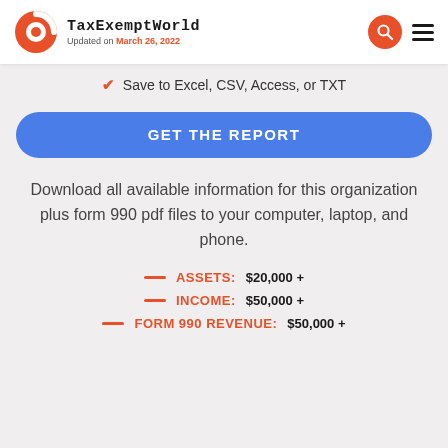TaxExemptWorld Updated on March 26, 2022
Save to Excel, CSV, Access, or TXT
GET THE REPORT
Download all available information for this organization plus form 990 pdf files to your computer, laptop, and phone.
ASSETS: $20,000 +
INCOME: $50,000 +
FORM 990 REVENUE: $50,000 +